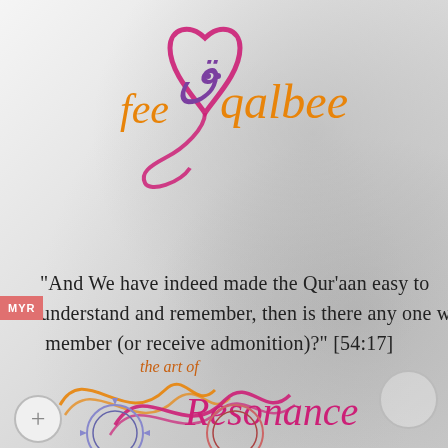[Figure (logo): Fee Qalbee logo: stylized cursive text 'fee qalbee' in orange with Arabic letter qaf in purple, surrounded by a pink/magenta heart outline]
“And We have indeed made the Qur’aan easy to understand and remember, then is there any one who will remember (or receive admonition)?” [54:17]
[Figure (logo): The art of Resonance logo: cursive text 'the art of' in orange-red with 'Resonance' in large magenta script, decorated with intertwining orange and magenta wave lines]